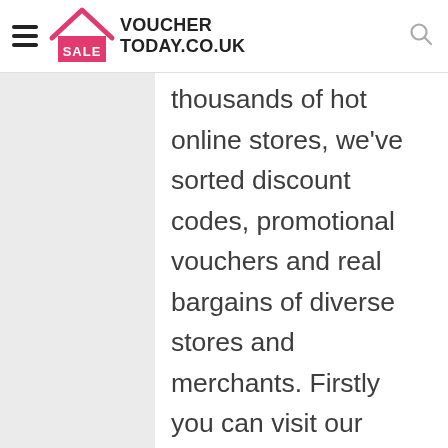VOUCHER TODAY.CO.UK
thousands of hot online stores, we've sorted discount codes, promotional vouchers and real bargains of diverse stores and merchants. Firstly you can visit our website and search the name of Hearst Magazines UK. Then you can just